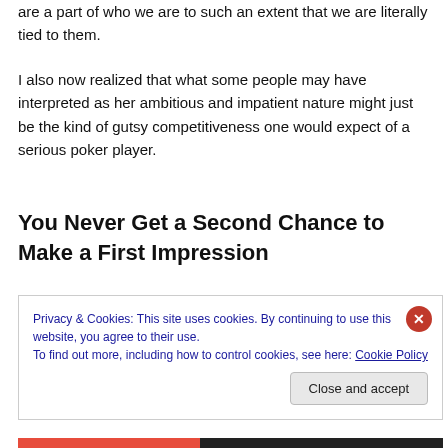are a part of who we are to such an extent that we are literally tied to them.
I also now realized that what some people may have interpreted as her ambitious and impatient nature might just be the kind of gutsy competitiveness one would expect of a serious poker player.
You Never Get a Second Chance to Make a First Impression
Privacy & Cookies: This site uses cookies. By continuing to use this website, you agree to their use.
To find out more, including how to control cookies, see here: Cookie Policy
Close and accept